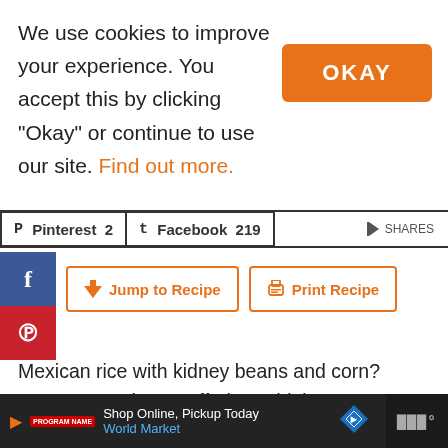We use cookies to improve your experience. You accept this by clicking "Okay" or continue to use our site. Find out more.
[Figure (other): Orange OKAY button]
[Figure (other): Social share bar with Pinterest 2 and Facebook 219 buttons and SHARES label]
[Figure (other): Side social icons: blue Facebook f and red Pinterest p]
[Figure (other): Jump to Recipe and Print Recipe orange outline buttons]
Mexican rice with kidney beans and corn? GREAT! Mexican stuffed zucchini? YES, please! Mexican stuffed zucchini with cashew cheese? OH MY GOSH, EVEN BETTER!!
[Figure (other): Advertisement bar: Shop Online, Pickup Today - World Market with play icon, logo, diamond arrow icon and WWW° logo]